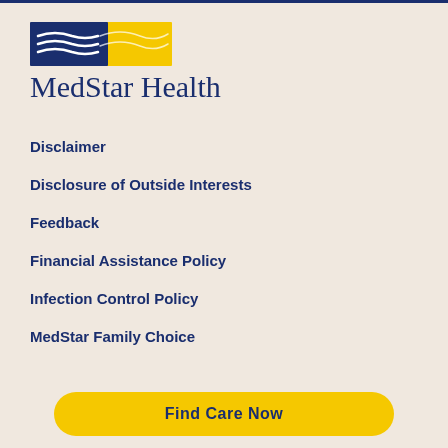[Figure (logo): MedStar Health logo with navy blue wave lines and yellow rectangle]
MedStar Health
Disclaimer
Disclosure of Outside Interests
Feedback
Financial Assistance Policy
Infection Control Policy
MedStar Family Choice
Find Care Now